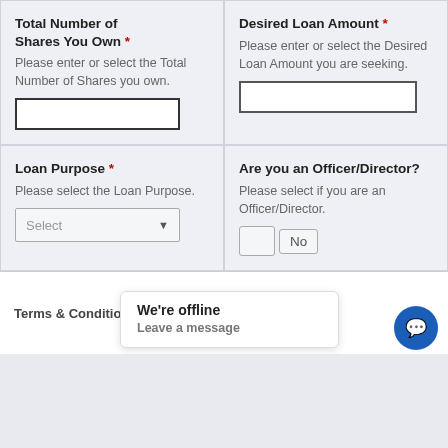Total Number of Shares You Own *
Please enter or select the Total Number of Shares you own.
Desired Loan Amount *
Please enter or select the Desired Loan Amount you are seeking.
Loan Purpose *
Please select the Loan Purpose.
Are you an Officer/Director?
Please select if you are an Officer/Director.
Terms & Conditio...
We're offline
Leave a message